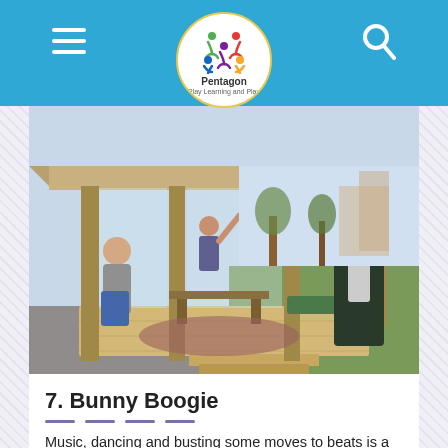Pentagon Play Learning and Play
[Figure (photo): Outdoor covered wooden deck/shelter with children and an adult dancing and moving around inside. The structure has wooden posts and a roof, with rugs on the floor and a bench table. Outside is a grassy area and residential buildings in the background.]
7. Bunny Boogie
Music, dancing and busting some moves to beats is a great way for children to show-off their best